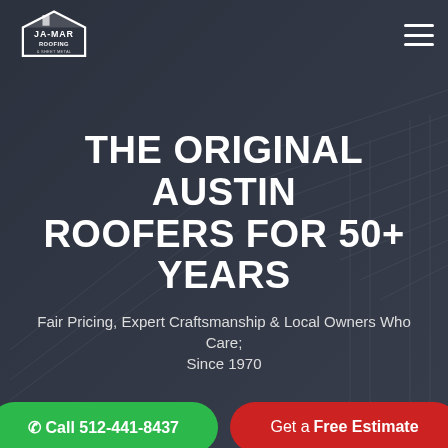[Figure (logo): Ja-Mar Roofing & Sheet Metal logo — house/roof icon above the text JA-MAR ROOFING & SHEET METAL in white on dark background]
THE ORIGINAL AUSTIN ROOFERS FOR 50+ YEARS
Fair Pricing, Expert Craftsmanship & Local Owners Who Care; Since 1970
☎ Call 512-441-8437
Get a Free Estimate